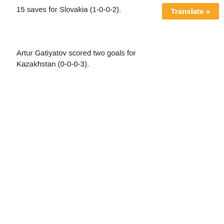15 saves for Slovakia (1-0-0-2).
Translate »
Artur Gatiyatov scored two goals for Kazakhstan (0-0-0-3).